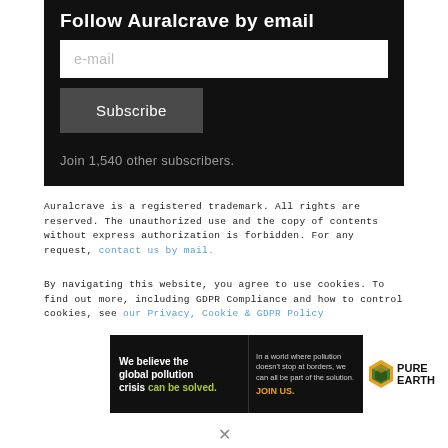Follow Auralcrave by email
e-mail
Subscribe
Join 1,540 other subscribers.
Auralcrave is a registered trademark. All rights are reserved. The unauthorized use and the copy of contents without express authorization is forbidden. For any request, contact us by mail.
By navigating this website, you agree to use cookies. To find out more, including GDPR Compliance and how to control cookies, see our Privacy, Cookie & GDPR Policy
[Figure (infographic): Pure Earth advertisement banner: black background with text 'We believe the global pollution crisis can be solved.' and 'In a world where pollution doesn't stop at borders, we can all be part of the solution. JOIN US.' alongside the Pure Earth logo with diamond icon.]